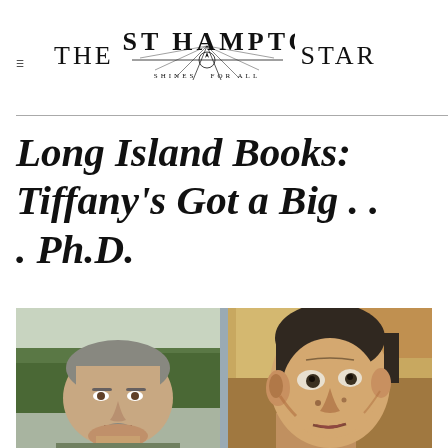THE EAST HAMPTON STAR — SHINES FOR ALL
Long Island Books: Tiffany's Got a Big . . . Ph.D.
[Figure (photo): Two side-by-side photos: on the left, a middle-aged man with short gray hair and a goatee outdoors with trees in background; on the right, an expressionist-style painted portrait of a gaunt male face.]